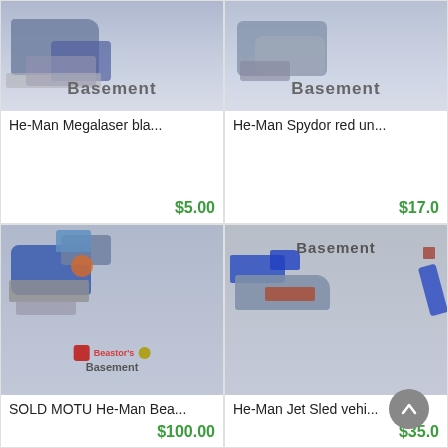[Figure (photo): Top-left product card image: He-Man Megalaser toy, grayish-blue background with 'Basement' watermark text]
He-Man Megalaser bla...
$5.00
[Figure (photo): Top-right product card image: He-Man Spydor toy, grayish background with 'Basement' watermark text]
He-Man Spydor red un...
$17.0
[Figure (photo): Bottom-left product card image: SOLD MOTU He-Man Beastman vehicle toy, blue and gray, with Beastor's Basement watermark]
SOLD MOTU He-Man Bea...
$100.00
[Figure (photo): Bottom-right product card image: He-Man Jet Sled vehicle toy, blue, silver and orange, with 'Basement' watermark]
He-Man Jet Sled vehi...
$35.0